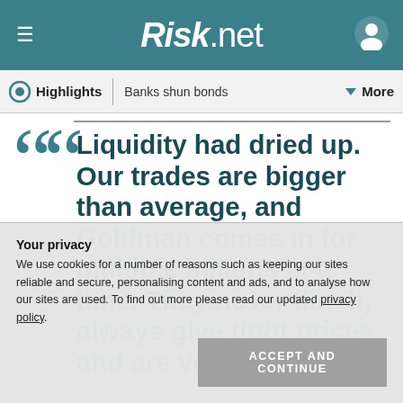Risk.net
Highlights | Banks shun bonds | More
Liquidity had dried up. Our trades are bigger than average, and Goldman comes in for multiple billions at a time. They never flinch, always give tight prices and are very consistent
Your privacy
We use cookies for a number of reasons such as keeping our sites reliable and secure, personalising content and ads, and to analyse how our sites are used. To find out more please read our updated privacy policy.
ACCEPT AND CONTINUE